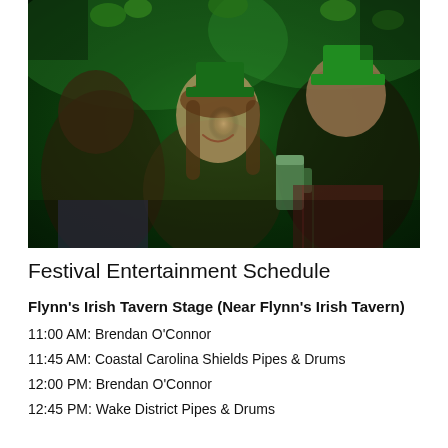[Figure (photo): People celebrating St. Patrick's Day at a bar/tavern, wearing green hats and shamrock decorations, laughing and holding green beer mugs, with green ambient lighting.]
Festival Entertainment Schedule
Flynn's Irish Tavern Stage (Near Flynn's Irish Tavern)
11:00 AM: Brendan O'Connor
11:45 AM: Coastal Carolina Shields Pipes & Drums
12:00 PM: Brendan O'Connor
12:45 PM: Wake District Pipes & Drums